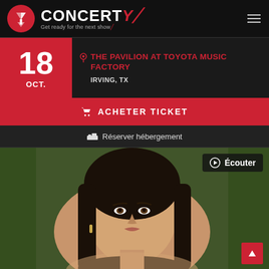[Figure (logo): Concerty logo with red circle containing a Y shape, white text CONCERTY with red slash, tagline 'Get ready for the next show']
18
OCT.
THE PAVILION AT TOYOTA MUSIC FACTORY
IRVING, TX
🛒 ACHETER TICKET
🛏 Réserver hébergement
[Figure (photo): Portrait photo of a young woman with long dark straight hair, wearing gold earrings, with green palm trees in background]
▶ Écouter